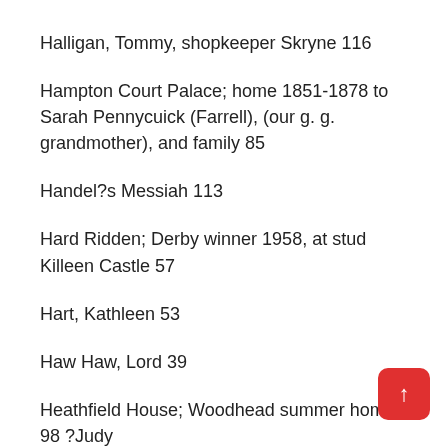Halligan, Tommy, shopkeeper Skryne 116
Hampton Court Palace; home 1851-1878 to Sarah Pennycuick (Farrell), (our g. g. grandmother), and family 85
Handel?s Messiah 113
Hard Ridden; Derby winner 1958, at stud Killeen Castle 57
Hart, Kathleen 53
Haw Haw, Lord 39
Heathfield House; Woodhead summer home 98 ?Judy